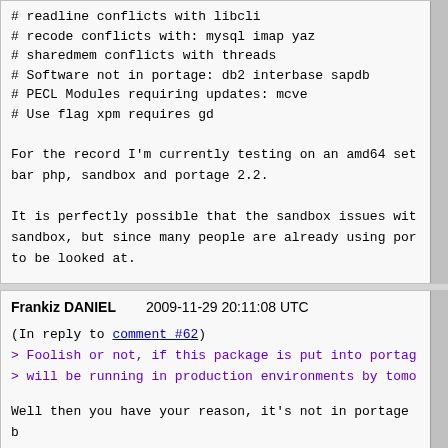# readline conflicts with libcli
# recode conflicts with: mysql imap yaz
# sharedmem conflicts with threads
# Software not in portage: db2 interbase sapdb
# PECL Modules requiring updates: mcve
# Use flag xpm requires gd

For the record I'm currently testing on an amd64 setup with toolbar php, sandbox and portage 2.2.

It is perfectly possible that the sandbox issues with php are sandbox, but since many people are already using portage 2.2 this needs to be looked at.
Frankiz DANIEL    2009-11-29 20:11:08 UTC
(In reply to comment #62)
> Foolish or not, if this package is put into portage it will be running in production environments by tomo...

Well then you have your reason, it's not in portage because it's in portage except for ~arch but well... you know that ~arch isn't for production don't you?

>
> The list of issues comes from my own testing of the...